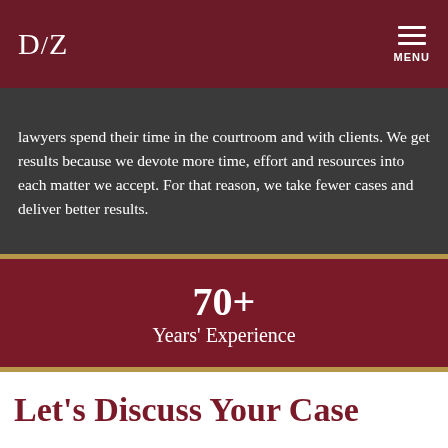D/Z   MENU
lawyers spend their time in the courtroom and with clients. We get results because we devote more time, effort and resources into each matter we accept. For that reason, we take fewer cases and deliver better results.
70+
Years' Experience
Let's Discuss Your Case
Thank you for your interest in DePaolo & Zadeikis. Please fill out the form below and we will contact you as soon as possible.